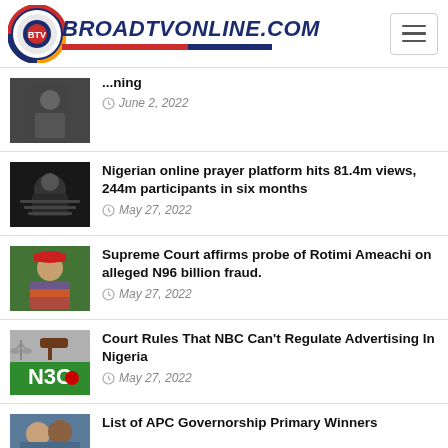BROADTVONLINE.COM
...ning
June 2, 2022
Nigerian online prayer platform hits 81.4m views, 244m participants in six months
May 27, 2022
Supreme Court affirms probe of Rotimi Ameachi on alleged N96 billion fraud.
May 27, 2022
Court Rules That NBC Can't Regulate Advertising In Nigeria
May 27, 2022
List of APC Governorship Primary Winners